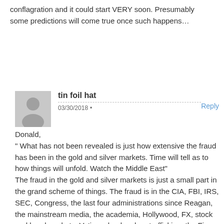conflagration and it could start VERY soon. Presumably some predictions will come true once such happens…
tin foil hat
03/30/2018
Donald,
" What has not been revealed is just how extensive the fraud has been in the gold and silver markets. Time will tell as to how things will unfold. Watch the Middle East"
The fraud in the gold and silver markets is just a small part in the grand scheme of things. The fraud is in the CIA, FBI, IRS, SEC, Congress, the last four administrations since Reagan, the mainstream media, the academia, Hollywood, FX, stock and bond markets, Vatican, banks, drug trafficking, the Five Eyes intelligence alliance ………. just off the top of my head. The deep state is